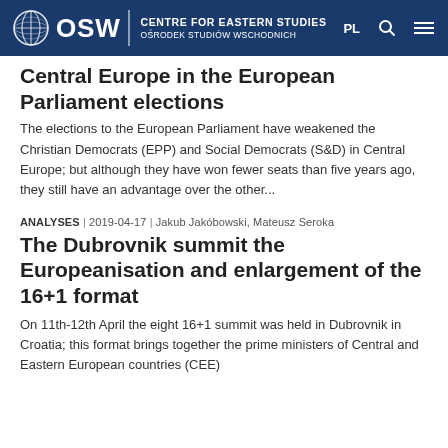OSW | CENTRE FOR EASTERN STUDIES | OŚRODEK STUDIÓW WSCHODNICH
Central Europe in the European Parliament elections
The elections to the European Parliament have weakened the Christian Democrats (EPP) and Social Democrats (S&D) in Central Europe; but although they have won fewer seats than five years ago, they still have an advantage over the other...
ANALYSES | 2019-04-17 | Jakub Jakóbowski, Mateusz Seroka
The Dubrovnik summit the Europeanisation and enlargement of the 16+1 format
On 11th-12th April the eight 16+1 summit was held in Dubrovnik in Croatia; this format brings together the prime ministers of Central and Eastern European countries (CEE)